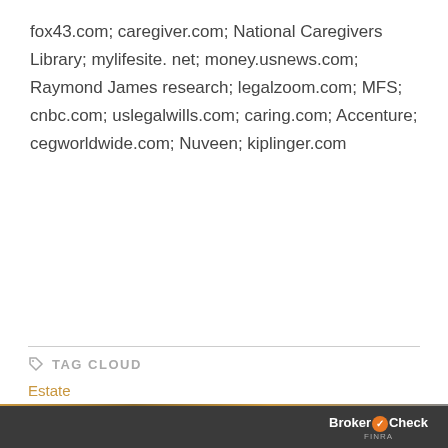fox43.com; caregiver.com; National Caregivers Library; mylifesite. net; money.usnews.com; Raymond James research; legalzoom.com; MFS; cnbc.com; uslegalwills.com; caring.com; Accenture; cegworldwide.com; Nuveen; kiplinger.com
TAG CLOUD
Estate
BrokerCheck FINRA